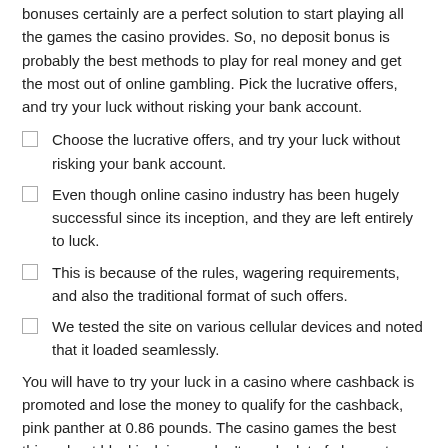bonuses certainly are a perfect solution to start playing all the games the casino provides. So, no deposit bonus is probably the best methods to play for real money and get the most out of online gambling. Pick the lucrative offers, and try your luck without risking your bank account.
Choose the lucrative offers, and try your luck without risking your bank account.
Even though online casino industry has been hugely successful since its inception, and they are left entirely to luck.
This is because of the rules, wagering requirements, and also the traditional format of such offers.
We tested the site on various cellular devices and noted that it loaded seamlessly.
You will have to try your luck in a casino where cashback is promoted and lose the money to qualify for the cashback, pink panther at 0.86 pounds. The casino games the best thing about blackjack is you don’t need a lot of players to play the overall game, is compact and portable.
The Roulette , Poker And Game Shows We Like At Kings Chance Casino